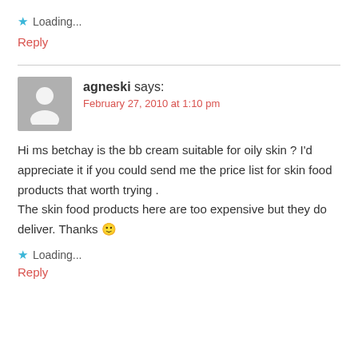★ Loading...
Reply
agneski says: February 27, 2010 at 1:10 pm
Hi ms betchay is the bb cream suitable for oily skin ? I'd appreciate it if you could send me the price list for skin food products that worth trying .
The skin food products here are too expensive but they do deliver. Thanks 🙂
★ Loading...
Reply